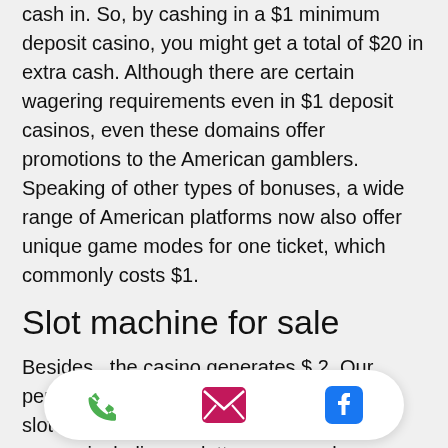cash in. So, by cashing in a $1 minimum deposit casino, you might get a total of $20 in extra cash. Although there are certain wagering requirements even in $1 deposit casinos, even these domains offer promotions to the American gamblers. Speaking of other types of bonuses, a wide range of American platforms now also offer unique game modes for one ticket, which commonly costs $1.
Slot machine for sale
Besides , the casino generates $ 2. Our pendleton, or casino is home to over 1,200 slot machines plus all your favorite table games including roulette, craps, poker, blackjack, keno a. The free spins no download games are much more accessible than the other casino games since they are instan... laptop... dollar...
[Figure (other): Bottom navigation bar overlay with three icons: phone (green), email/envelope (pink/magenta), and Facebook (blue)]